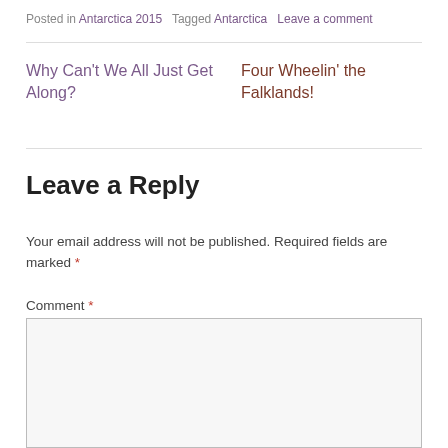Posted in Antarctica 2015   Tagged Antarctica   Leave a comment
Why Can't We All Just Get Along?
Four Wheelin' the Falklands!
Leave a Reply
Your email address will not be published. Required fields are marked *
Comment *